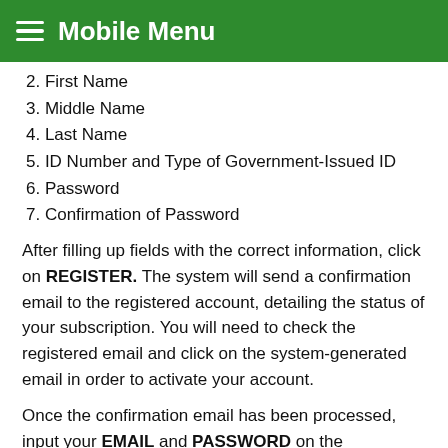Mobile Menu
2. First Name
3. Middle Name
4. Last Name
5. ID Number and Type of Government-Issued ID
6. Password
7. Confirmation of Password
After filling up fields with the correct information, click on REGISTER. The system will send a confirmation email to the registered account, detailing the status of your subscription. You will need to check the registered email and click on the system-generated email in order to activate your account.
Once the confirmation email has been processed, input your EMAIL and PASSWORD on the EXISTING LEVEL 2 USERS fields and choose SIGN-IN. You will be then directed to the...